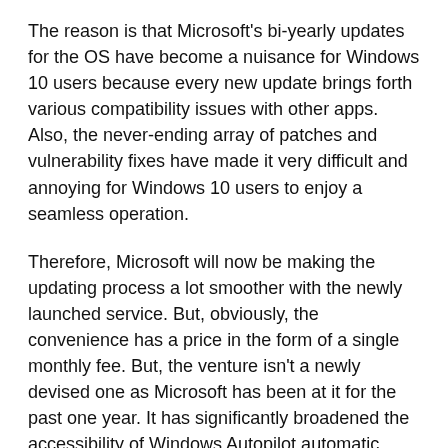The reason is that Microsoft's bi-yearly updates for the OS have become a nuisance for Windows 10 users because every new update brings forth various compatibility issues with other apps. Also, the never-ending array of patches and vulnerability fixes have made it very difficult and annoying for Windows 10 users to enjoy a seamless operation.
Therefore, Microsoft will now be making the updating process a lot smoother with the newly launched service. But, obviously, the convenience has a price in the form of a single monthly fee. But, the venture isn't a newly devised one as Microsoft has been at it for the past one year. It has significantly broadened the accessibility of Windows Autopilot automatic device provisioning service.
Microsoft also has improved device financing skills